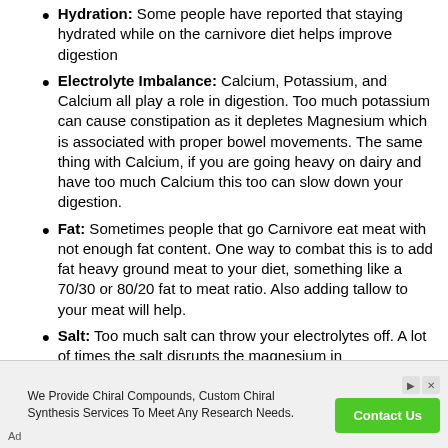Hydration: Some people have reported that staying hydrated while on the carnivore diet helps improve digestion
Electrolyte Imbalance: Calcium, Potassium, and Calcium all play a role in digestion. Too much potassium can cause constipation as it depletes Magnesium which is associated with proper bowel movements. The same thing with Calcium, if you are going heavy on dairy and have too much Calcium this too can slow down your digestion.
Fat: Sometimes people that go Carnivore eat meat with not enough fat content. One way to combat this is to add fat heavy ground meat to your diet, something like a 70/30 or 80/20 fat to meat ratio. Also adding tallow to your meat will help.
Salt: Too much salt can throw your electrolytes off. A lot of times the salt disrupts the magnesium in
Ad | We Provide Chiral Compounds, Custom Chiral Synthesis Services To Meet Any Research Needs. Contact Us